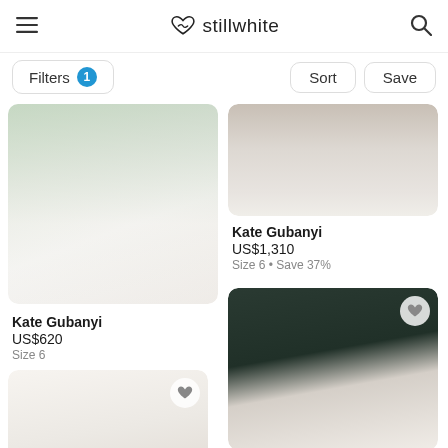stillwhite
Filters 1 • Sort • Save
[Figure (photo): Wedding dress photo - white mermaid gown with plant in background, Kate Gubanyi]
Kate Gubanyi
US$620
Size 6
[Figure (photo): Wedding veil/dress close-up detail, Kate Gubanyi]
Kate Gubanyi
US$1,310
Size 6 • Save 37%
[Figure (photo): Bride from behind with wooden arch and greenery]
[Figure (photo): Woman in white lace spaghetti strap dress]